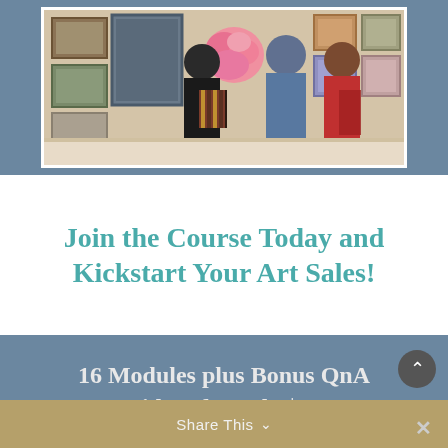[Figure (photo): Photo of people at an art gallery/show, two women viewed from behind looking at framed artwork on walls, one wearing a striped bag and holding a large pink flower, another in a blue outfit and red person visible]
Join the Course Today and Kickstart Your Art Sales!
16 Modules plus Bonus QnA Videos for only $97
Share This ∨